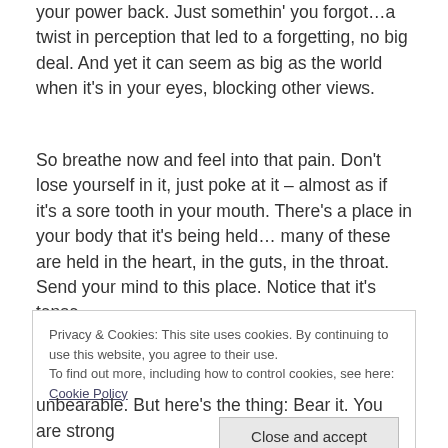your power back. Just somethin' you forgot…a twist in perception that led to a forgetting, no big deal. And yet it can seem as big as the world when it's in your eyes, blocking other views.
So breathe now and feel into that pain. Don't lose yourself in it, just poke at it – almost as if it's a sore tooth in your mouth. There's a place in your body that it's being held… many of these are held in the heart, in the guts, in the throat. Send your mind to this place. Notice that it's tense.
Privacy & Cookies: This site uses cookies. By continuing to use this website, you agree to their use.
To find out more, including how to control cookies, see here: Cookie Policy
unbearable. But here's the thing: Bear it. You are strong